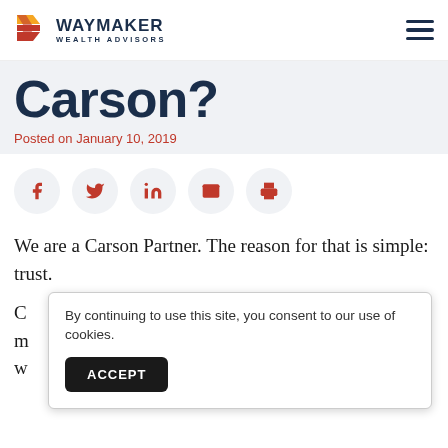[Figure (logo): Waymaker Wealth Advisors logo with stylized colored flag icon and company name]
Carson?
Posted on January 10, 2019
[Figure (infographic): Social sharing icons: Facebook, Twitter, LinkedIn, Email, Print — red icons in light grey circular buttons]
We are a Carson Partner. The reason for that is simple: trust.
C
m
w
By continuing to use this site, you consent to our use of cookies.